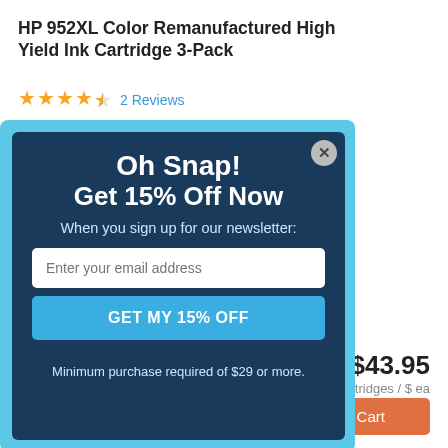HP 952XL Color Remanufactured High Yield Ink Cartridge 3-Pack
★★★★½  2 Reviews
[Figure (screenshot): Modal popup overlay with dark navy blue background and light blue border. Contains heading 'Oh Snap! Get 15% Off Now', subtitle 'When you sign up for our newsletter:', email input field with placeholder 'Enter your email address', blue 'GET MY 15% OFF' button, and footer text 'Minimum purchase required of $29 or more.']
$43.95
3 Cartridges / $ ea
Add to Cart